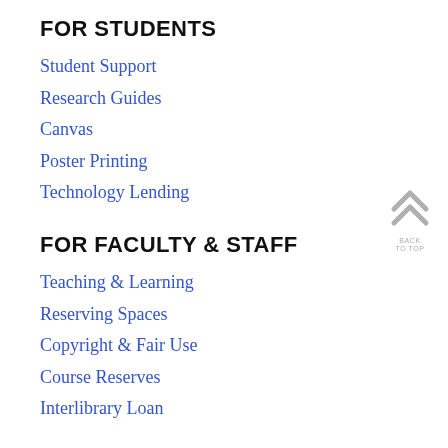FOR STUDENTS
Student Support
Research Guides
Canvas
Poster Printing
Technology Lending
FOR FACULTY & STAFF
Teaching & Learning
Reserving Spaces
Copyright & Fair Use
Course Reserves
Interlibrary Loan